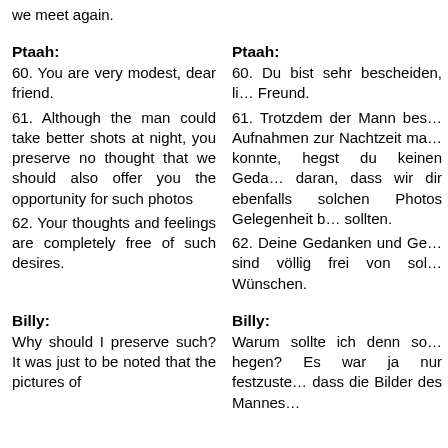we meet again.
Ptaah: 60. You are very modest, dear friend. 61. Although the man could take better shots at night, you preserve no thought that we should also offer you the opportunity for such photos 62. Your thoughts and feelings are completely free of such desires.
Ptaah: 60. Du bist sehr bescheiden, lieber Freund. 61. Trotzdem der Mann bessere Aufnahmen zur Nachtzeit machen konnte, hegst du keinen Gedanken daran, dass wir dir ebenfalls solchen Photos Gelegenheit bieten sollten. 62. Deine Gedanken und Gefühle sind völlig frei von solchen Wünschen.
Billy: Why should I preserve such? It was just to be noted that the pictures of
Billy: Warum sollte ich denn so etwas hegen? Es war ja nur festzustellen, dass die Bilder des Mannes